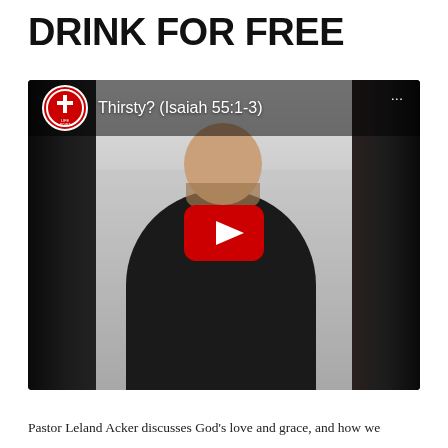DRINK FOR FREE
[Figure (screenshot): YouTube video embed thumbnail showing a man in a black shirt speaking in a church setting, with the YouTube play button overlay and video title 'Thirsty? (Isaiah 55:1-3)' in the top bar with a Life Point church logo.]
Pastor Leland Acker discusses God's love and grace, and how we